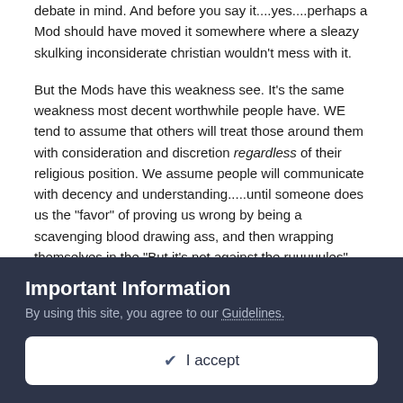debate in mind. And before you say it....yes....perhaps a Mod should have moved it somewhere where a sleazy skulking inconsiderate christian wouldn't mess with it.
But the Mods have this weakness see. It's the same weakness most decent worthwhile people have. WE tend to assume that others will treat those around them with consideration and discretion regardless of their religious position. We assume people will communicate with decency and understanding.....until someone does us the "favor" of proving us wrong by being a scavenging blood drawing ass, and then wrapping themselves in the "But it's not against the ruuuuules" banner.
RHEMtron
Important Information
By using this site, you agree to our Guidelines.
✔ I accept